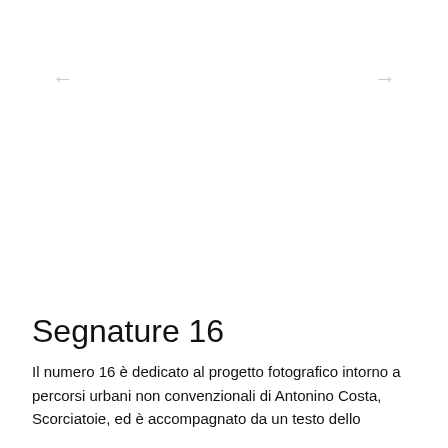← →
Segnature 16
Il numero 16 è dedicato al progetto fotografico intorno a percorsi urbani non convenzionali di Antonino Costa, Scorciatoie, ed è accompagnato da un testo dello